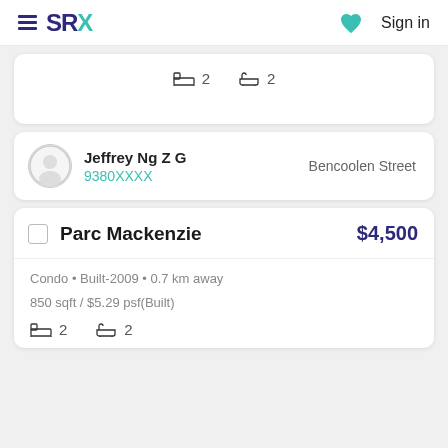SRX  Sign in
2 bedrooms 2 bathrooms
Jeffrey Ng Z G
9380XXXX
Bencoolen Street
Parc Mackenzie  $4,500
Condo • Built-2009 • 0.7 km away
850 sqft / $5.29 psf(Built)
2 bedrooms 2 bathrooms